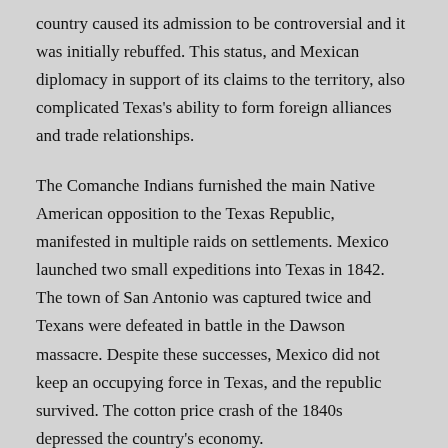country caused its admission to be controversial and it was initially rebuffed. This status, and Mexican diplomacy in support of its claims to the territory, also complicated Texas's ability to form foreign alliances and trade relationships.
The Comanche Indians furnished the main Native American opposition to the Texas Republic, manifested in multiple raids on settlements. Mexico launched two small expeditions into Texas in 1842. The town of San Antonio was captured twice and Texans were defeated in battle in the Dawson massacre. Despite these successes, Mexico did not keep an occupying force in Texas, and the republic survived. The cotton price crash of the 1840s depressed the country's economy.